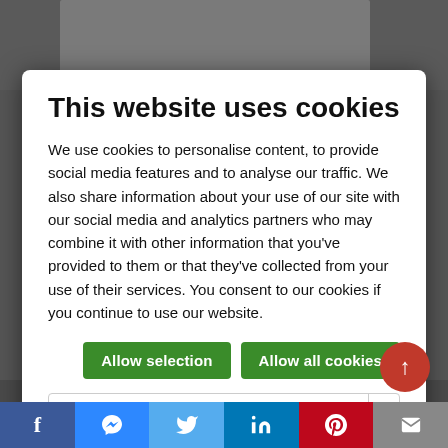[Figure (screenshot): Website screenshot background with cookie consent modal overlay]
This website uses cookies
We use cookies to personalise content, to provide social media features and to analyse our traffic. We also share information about your use of our site with our social media and analytics partners who may combine it with other information that you've provided to them or that they've collected from your use of their services. You consent to our cookies if you continue to use our website.
Allow selection
Allow all cookies
| Necessary | Preferences | Statistics | Show details |
| Marketing |  |  |  |
[Figure (screenshot): Social media share bar at bottom with Facebook, Messenger, Twitter, LinkedIn, Pinterest, and email icons]